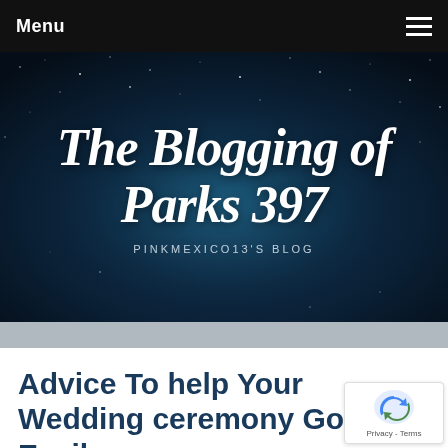Menu
[Figure (illustration): Blog header banner with night sky background showing 'The Blogging of Parks 397' in large cursive white text, and 'PINKMEXICO13'S BLOG' subtitle below in small spaced uppercase letters]
Advice To help Your Wedding ceremony Go Easily
April 24, 2019